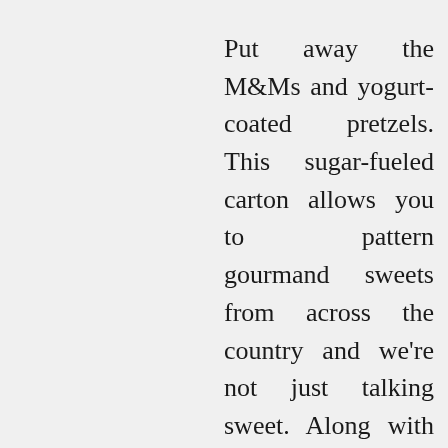Put away the M&Ms and yogurt-coated pretzels. This sugar-fueled carton allows you to pattern gourmand sweets from across the country and we're not just talking sweet. Along with caramels and chocolate bars, anticipate samples of jams, cookie dough and even do-it-yourself pop-tarts.
Travel the world with out ever stepping foot off of your front porch. Each box supplies ingredients and recipes from an exotic metropolis around the globe